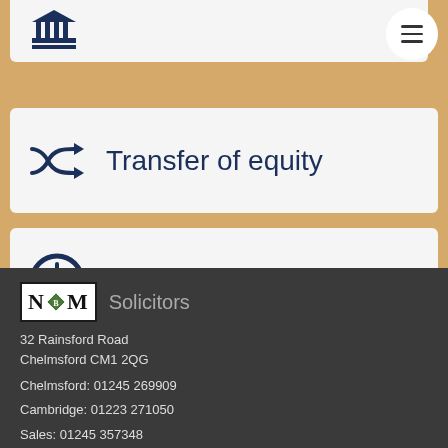[Figure (screenshot): App screenshot showing partial top card with building/bank icon (partially visible at top)]
Transfer of equity
Lease extension
[Figure (logo): NBM Solicitors logo with diamond B icon]
32 Rainsford Road
Chelmsford CM1 2QG
Chelmsford: 01245 269909
Cambridge: 01223 271050
Sales: 01245 357348
Email: sales@nbmlaw.co.uk